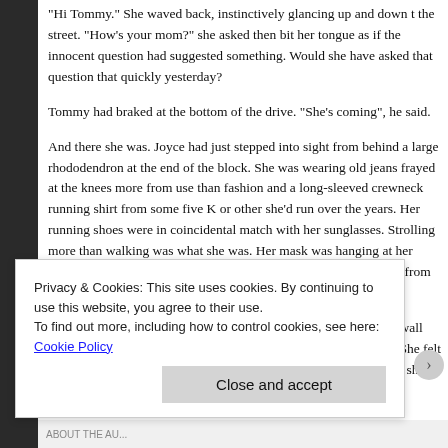“Hi Tommy.” She waved back, instinctively glancing up and down the street. “How’s your mom?” she asked then bit her tongue as if the innocent question had suggested something. Would she have asked that question that quickly yesterday?
Tommy had braked at the bottom of the drive. “She’s coming”, he s…
And there she was. Joyce had just stepped into sight from behind a large rhododendron at the end of the block. She was wearing old jeans frayed at the knees more from use than fashion and a long-sleeved crewneck running shirt from some five K or other she’d run over the years. Her running shoes were in coincidental match with her sunglasses. Strolling more than walking was what she was. Her mask was hanging at her throat, ready to be pulled up if anyone wanted to exchange words from across the sidewalk or over the h…
The visions that Megan had tried to hold off crashed through the w… like the Kool-Aid man as she watched Joyce’s languid approach. S… chest not wanting to go there. This is ridiculous, she thought.
Privacy & Cookies: This site uses cookies. By continuing to use this website, you agree to their use.
To find out more, including how to control cookies, see here: Cookie Policy
Close and accept